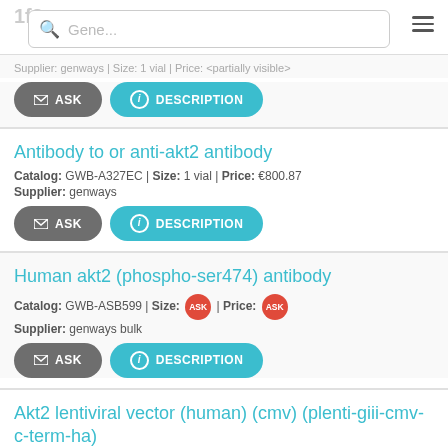1f3
Supplier: genways | Size: 1 vial | Price: [partial]
ASK | DESCRIPTION
Antibody to or anti-akt2 antibody
Catalog: GWB-A327EC | Size: 1 vial | Price: €800.87
Supplier: genways
ASK | DESCRIPTION
Human akt2 (phospho-ser474) antibody
Catalog: GWB-ASB599 | Size: ASK | Price: ASK
Supplier: genways bulk
ASK | DESCRIPTION
Akt2 lentiviral vector (human) (cmv) (plenti-giii-cmv-c-term-ha)
Catalog: LV073608 | Size: 10 ug DNA | Price: €787.37